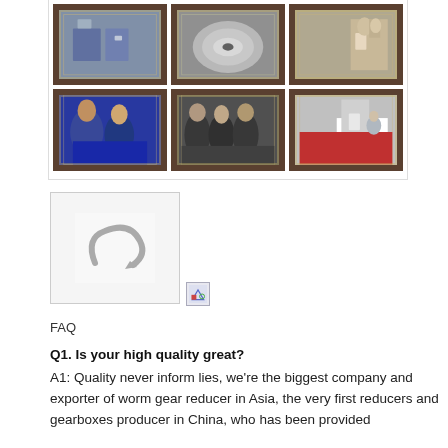[Figure (photo): 3x2 grid of photos in ornate dark frames: trade show booths, machinery parts, people at events, and factory/expo floors]
[Figure (photo): A small thumbnail/icon image showing a circular curved shape on white background, with a small broken image icon overlapping]
FAQ
Q1. Is your high quality great?
A1: Quality never inform lies, we're the biggest company and exporter of worm gear reducer in Asia, the very first reducers and gearboxes producer in China, who has been provided